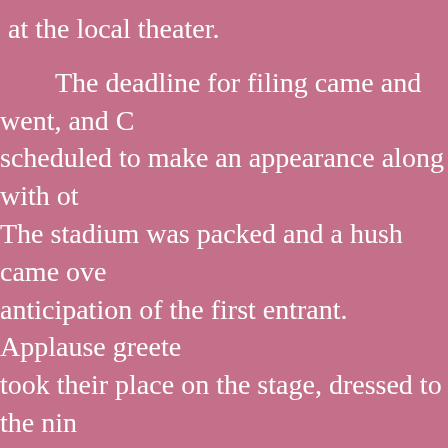at the local theater.

The deadline for filing came and went, and C scheduled to make an appearance along with ot The stadium was packed and a hush came ove anticipation of the first entrant. Applause greete took their place on the stage, dressed to the nin silk necktie. There were no duplicate ties, nor ne secretaries must have conspired together.

Each candidate was introduced to applause a but the silence of a staring curiosity greeted Cre the last of the candidates, he walked onstage dr man's clothes.  He was tall, rugged, middle-aged sported a navy blue hooded duck quilted jacket, journeyman's boots.  His hair was iron gray and twinkled. Despite his blue eyes, Cremeans proje